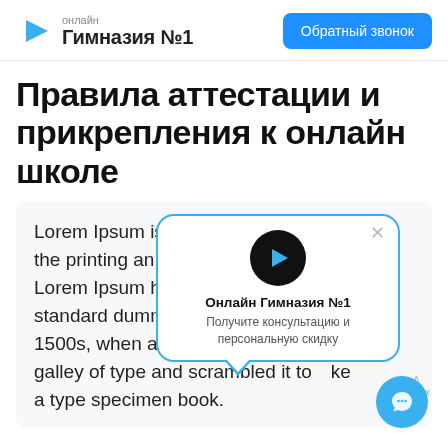онлайн Гимназия №1 | Обратный звонок
Правила аттестации и прикрепления к онлайн школе
Lorem Ipsum is the printing and Lorem Ipsum has standard dummy text ever since the 1500s, when an unknown printer took a galley of type and scrambled it to make a type specimen book.
[Figure (screenshot): Popup card with Онлайн Гимназия №1 logo, title 'Онлайн Гимназия №1', subtitle 'Получите консультацию и персональную скидку', close button, and chat button]
Онлайн Гимназия №1
Получите консультацию и персональную скидку